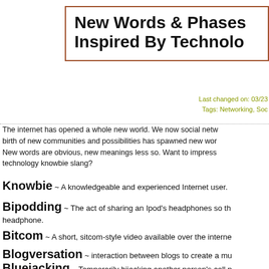New Words & Phases Inspired By Technology
Last changed on: 03/23
Tags: Networking, Soc
The internet has opened a whole new world. We now social netw... birth of new communities and possibilities has spawned new wor... New words are obvious, new meanings less so. Want to impress... technology knowbie slang?
Knowbie ~ A knowledgeable and experienced Internet user.
Bipodding ~ The act of sharing an Ipod's headphones so th... headphone.
Bitcom ~ A short, sitcom-style video available over the interne
Blogversation ~ interaction between blogs to create a mu
Bluejacking ~ Temporarily hijacking another person's cell p... Bluetooth wireless networking system.